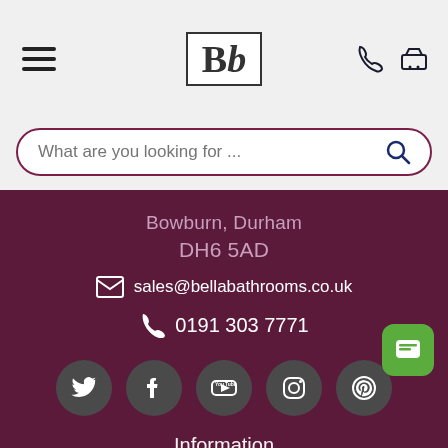[Figure (logo): Bb logo in a bordered box, hamburger menu icon on left, phone and basket icons on right]
What are you looking for ...
Bowburn, Durham
DH6 5AD
sales@bellabathrooms.co.uk
0191 303 7771
[Figure (other): Social media icons row: Twitter, Facebook, YouTube, Instagram, Pinterest]
Information
About Us
Add to Basket